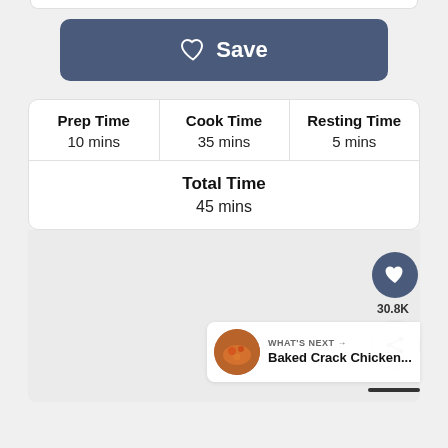[Figure (screenshot): Save button with heart icon on dark blue background]
| Prep Time | Cook Time | Resting Time |
| --- | --- | --- |
| 10 mins | 35 mins | 5 mins |
| Total Time | 45 mins |  |
[Figure (screenshot): Content area with heart/save button showing 30.8K saves, share button, and What's Next card for Baked Crack Chicken...]